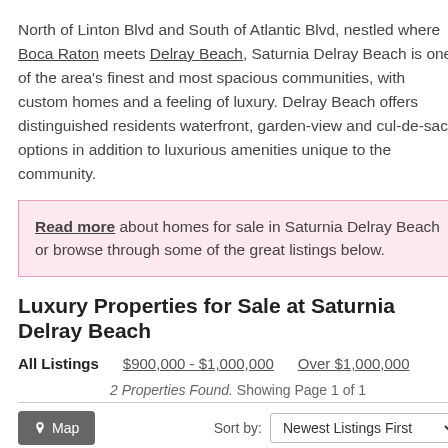North of Linton Blvd and South of Atlantic Blvd, nestled where Boca Raton meets Delray Beach, Saturnia Delray Beach is one of the area's finest and most spacious communities, with custom homes and a feeling of luxury. Delray Beach offers distinguished residents waterfront, garden-view and cul-de-sac options in addition to luxurious amenities unique to the community.
Read more about homes for sale in Saturnia Delray Beach or browse through some of the great listings below.
Luxury Properties for Sale at Saturnia Delray Beach
All Listings   $900,000 - $1,000,000   Over $1,000,000
2 Properties Found. Showing Page 1 of 1
Map   Sort by: Newest Listings First